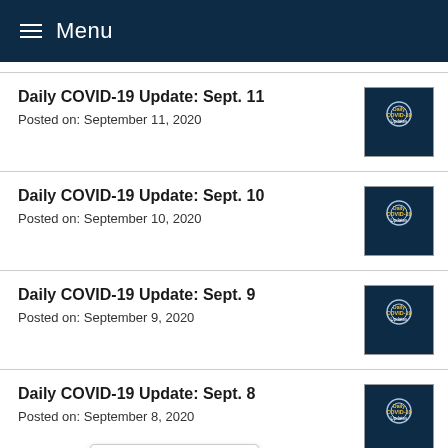Menu
Daily COVID-19 Update: Sept. 11
Posted on: September 11, 2020
Daily COVID-19 Update: Sept. 10
Posted on: September 10, 2020
Daily COVID-19 Update: Sept. 9
Posted on: September 9, 2020
Daily COVID-19 Update: Sept. 8
Posted on: September 8, 2020
Daily COVID-19 Update: September 4
Posted on: September 4, 2020